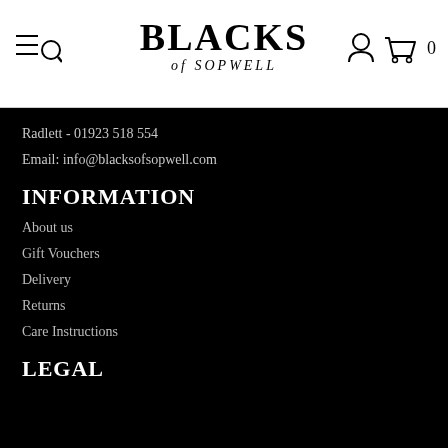BLACKS of SOPWELL
Radlett - 01923 518 554
Email: info@blacksofsopwell.com
INFORMATION
About us
Gift Vouchers
Delivery
Returns
Care Instructions
LEGAL